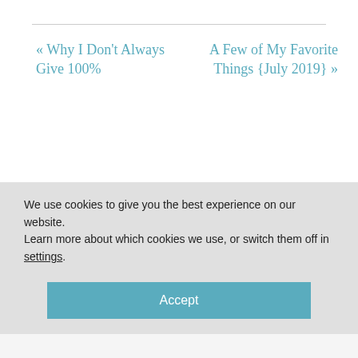« Why I Don't Always Give 100%
A Few of My Favorite Things {July 2019} »
LEAVE A COMMENT
Your email address will not be
We use cookies to give you the best experience on our website.
Learn more about which cookies we use, or switch them off in settings.
Accept